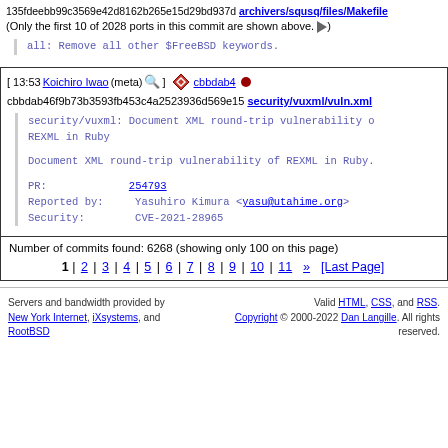135fdeebb99c3569e42d8162b265e15d29bd937d archivers/squsq/files/Makefile
(Only the first 10 of 2028 ports in this commit are shown above. ▶)
all: Remove all other $FreeBSD keywords.
[ 13:53 Koichiro Iwao (meta) 🔍 ]  cbbdab4 ●
cbbdab46f9b73b3593fb453c4a2523936d569e15 security/vuxml/vuln.xml
security/vuxml: Document XML round-trip vulnerability of REXML in Ruby

Document XML round-trip vulnerability of REXML in Ruby.

PR:           254793
Reported by:  Yasuhiro Kimura <yasu@utahime.org>
Security:     CVE-2021-28965
Number of commits found: 6268 (showing only 100 on this page)
1 | 2 | 3 | 4 | 5 | 6 | 7 | 8 | 9 | 10 | 11 » [Last Page]
Servers and bandwidth provided by New York Internet, iXsystems, and RootBSD. Valid HTML, CSS, and RSS. Copyright © 2000-2022 Dan Langille. All rights reserved.